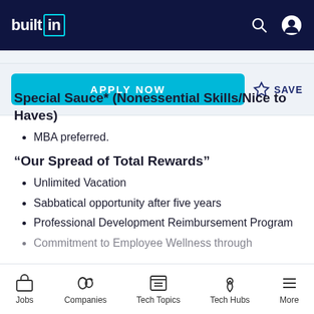builtin (navigation bar with search and profile icons)
Special Sauce* (Nonessential Skills/Nice to Haves)
MBA preferred.
“Our Spread of Total Rewards”
Unlimited Vacation
Sabbatical opportunity after five years
Professional Development Reimbursement Program
Commitment to Employee Wellness through
Jobs  Companies  Tech Topics  Tech Hubs  More